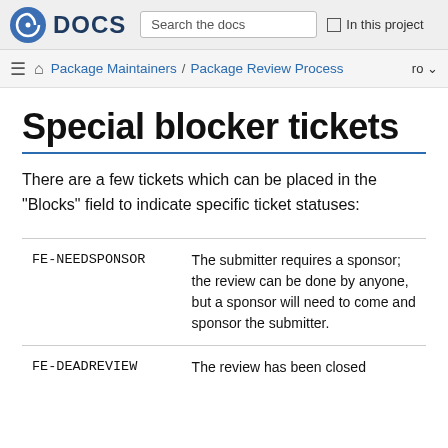Fedora DOCS | Search the docs | In this project
Package Maintainers / Package Review Process  ro
Special blocker tickets
There are a few tickets which can be placed in the "Blocks" field to indicate specific ticket statuses:
|  |  |
| --- | --- |
| FE-NEEDSPONSOR | The submitter requires a sponsor; the review can be done by anyone, but a sponsor will need to come and sponsor the submitter. |
| FE-DEADREVIEW | The review has been closed and the submitter... |